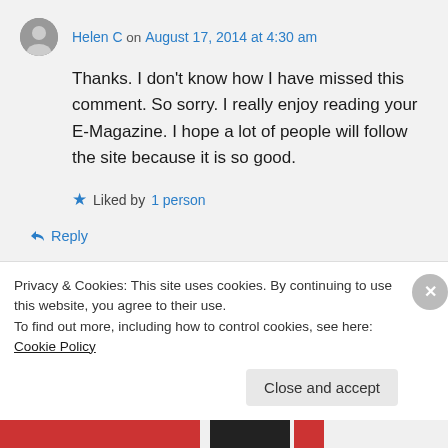Helen C on August 17, 2014 at 4:30 am
Thanks. I don't know how I have missed this comment. So sorry. I really enjoy reading your E-Magazine. I hope a lot of people will follow the site because it is so good.
Liked by 1 person
Reply
Privacy & Cookies: This site uses cookies. By continuing to use this website, you agree to their use.
To find out more, including how to control cookies, see here: Cookie Policy
Close and accept